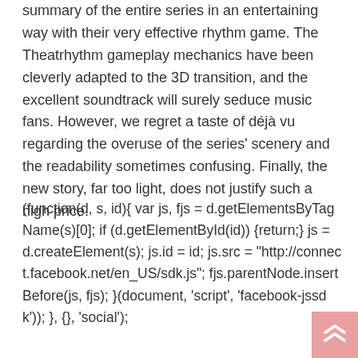summary of the entire series in an entertaining way with their very effective rhythm game. The Theatrhythm gameplay mechanics have been cleverly adapted to the 3D transition, and the excellent soundtrack will surely seduce music fans. However, we regret a taste of déjà vu regarding the overuse of the series' scenery and the readability sometimes confusing. Finally, the new story, far too light, does not justify such a high price.
(function(d, s, id){ var js, fjs = d.getElementsByTagName(s)[0]; if (d.getElementById(id)) {return;} js = d.createElement(s); js.id = id; js.src = "http://connect.facebook.net/en_US/sdk.js"; fjs.parentNode.insertBefore(js, fjs); }(document, 'script', 'facebook-jssdk')); }, {}, 'social');